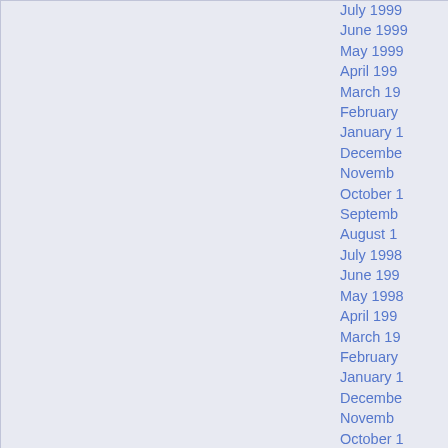July 1999
June 1999
May 1999
April 1999
March 1999
February 1999
January 1999
December 1998
November 1998
October 1998
September 1998
August 1998
July 1998
June 1998
May 1998
April 1998
March 1998
February 1998
January 1998
December 1997
November 1997
October 1997
September 1997
August 1997
July 1997
June 1997
May 1997
April 1997
March 1997
February 1997
January 1997
December 1996